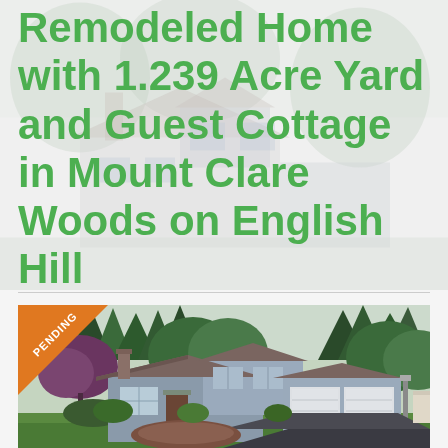Remodeled Home with 1.239 Acre Yard and Guest Cottage in Mount Clare Woods on English Hill
[Figure (photo): Exterior photo of a remodeled two-story house with attached two-car garage, surrounded by tall trees, with green lawn and landscaping. A 'PENDING' ribbon badge appears in the upper-left corner of the photo.]